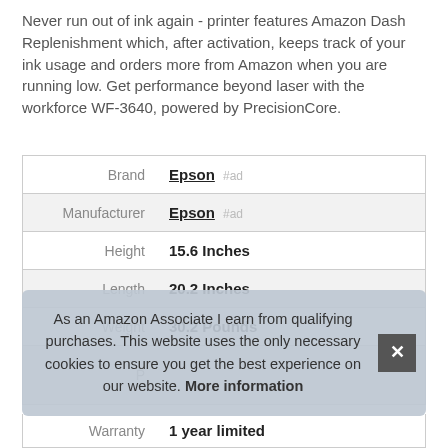Never run out of ink again - printer features Amazon Dash Replenishment which, after activation, keeps track of your ink usage and orders more from Amazon when you are running low. Get performance beyond laser with the workforce WF-3640, powered by PrecisionCore.
| Attribute | Value |
| --- | --- |
| Brand | Epson #ad |
| Manufacturer | Epson #ad |
| Height | 15.6 Inches |
| Length | 20.2 Inches |
| Weight | 30.2 Pounds |
| P... |  |
| Warranty | 1 year limited |
As an Amazon Associate I earn from qualifying purchases. This website uses the only necessary cookies to ensure you get the best experience on our website. More information